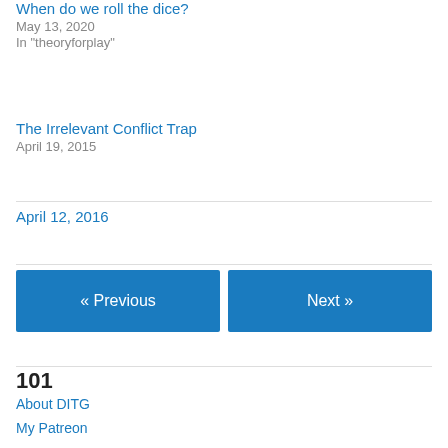When do we roll the dice?
May 13, 2020
In "theoryforplay"
The Irrelevant Conflict Trap
April 19, 2015
April 12, 2016
« Previous
Next »
101
About DITG
My Patreon